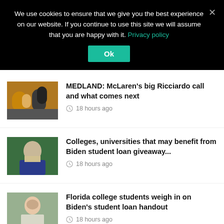We use cookies to ensure that we give you the best experience on our website. If you continue to use this site we will assume that you are happy with it. Privacy policy
Ok
MEDLAND: McLaren's big Ricciardo call and what comes next
18 hours ago
[Figure (photo): Photo related to McLaren/Formula 1 racing article]
Colleges, universities that may benefit from Biden student loan giveaway...
18 hours ago
[Figure (photo): Photo of a man in a suit waving, related to Biden student loan article]
Florida college students weigh in on Biden's student loan handout
18 hours ago
[Figure (photo): Photo of a young woman, related to Florida college students article]